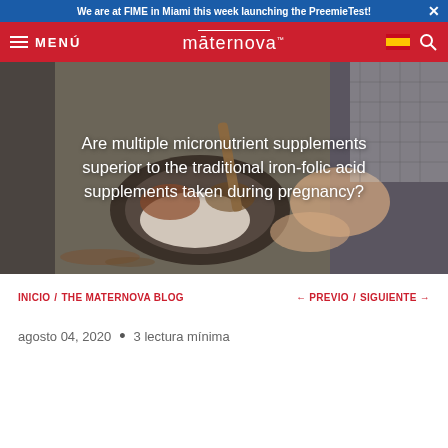We are at FIME in Miami this week launching the PreemieTest!
MENÚ  māternova
[Figure (photo): Photo of hands holding a mortar and pestle with spices and grains, with text overlay: Are multiple micronutrient supplements superior to the traditional iron-folic acid supplements taken during pregnancy?]
INICIO / THE MATERNOVA BLOG   ← PREVIO / SIGUIENTE →
agosto 04, 2020  •  3 lectura mínima